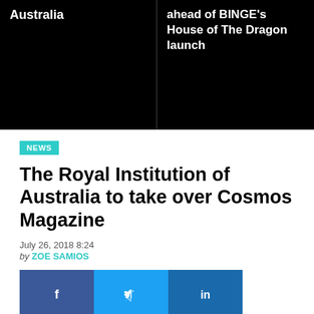Australia | ahead of BINGE's House of The Dragon launch
NEWS
The Royal Institution of Australia to take over Cosmos Magazine
July 26, 2018 8:24
by ZOE SAMIOS
[Figure (other): Social share buttons: Facebook, Twitter, LinkedIn]
Cosmos Magazine will be published by charity The